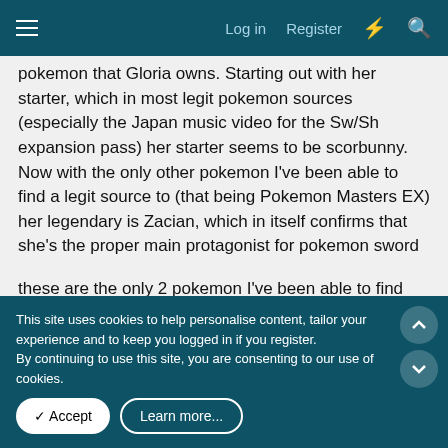Log in  Register
pokemon that Gloria owns. Starting out with her starter, which in most legit pokemon sources (especially the Japan music video for the Sw/Sh expansion pass) her starter seems to be scorbunny. Now with the only other pokemon I've been able to find a legit source to (that being Pokemon Masters EX) her legendary is Zacian, which in itself confirms that she's the proper main protagonist for pokemon sword
these are the only 2 pokemon I've been able to find factual sources on, her other 4 pokemon are (pretty much) currently unknown as of writing this
edit : actually... with her being the protagonist for sword, that somewhat takes away some possible pokemon due to version exclusivity
This site uses cookies to help personalise content, tailor your experience and to keep you logged in if you register.
By continuing to use this site, you are consenting to our use of cookies.